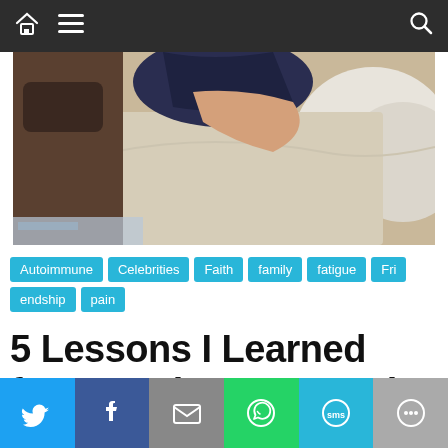Navigation bar with home, menu, and search icons
[Figure (photo): Person lying on a bed with white bedding, wearing dark clothing, partial view from overhead]
Autoimmune
Celebrities
Faith
family
fatigue
Friendship
pain
5 Lessons I Learned from Boxing & Pacquiao on Resilience & Surviving Illness
Social share bar: Twitter, Facebook, Email, WhatsApp, SMS, More